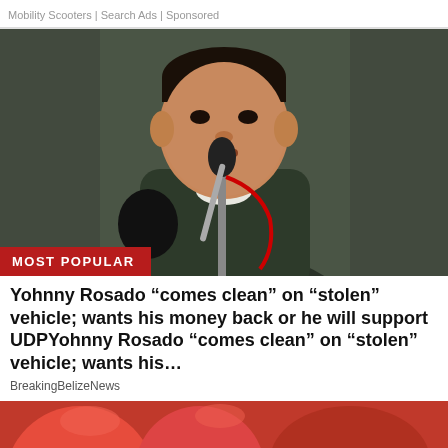Mobility Scooters | Search Ads | Sponsored
[Figure (photo): A man in a dark jacket standing at a microphone with a red 'MOST POPULAR' badge overlaid at the bottom left]
Yohnny Rosado “comes clean” on “stolen” vehicle; wants his money back or he will support UDPYohnny Rosado “comes clean” on “stolen” vehicle; wants his…
BreakingBelizeNews
[Figure (photo): Partial bottom image showing a red background with partial view of food or object]